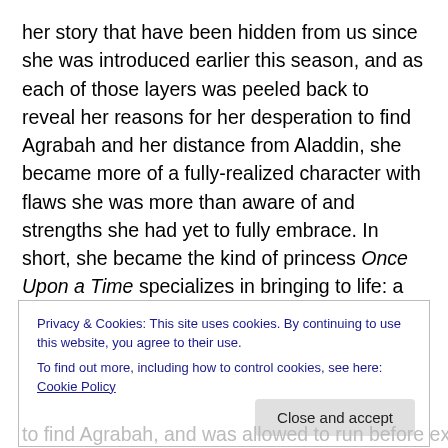her story that have been hidden from us since she was introduced earlier this season, and as each of those layers was peeled back to reveal her reasons for her desperation to find Agrabah and her distance from Aladdin, she became more of a fully-realized character with flaws she was more than aware of and strengths she had yet to fully embrace. In short, she became the kind of princess Once Upon a Time specializes in bringing to life: a fierce, complex female leader learning to love herself and to accept love in her life.
Privacy & Cookies: This site uses cookies. By continuing to use this website, you agree to their use.
To find out more, including how to control cookies, see here: Cookie Policy
to find Agrabah, and was allowed to run before executing